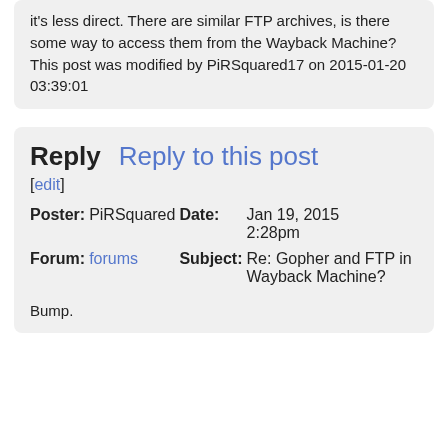it's less direct. There are similar FTP archives, is there some way to access them from the Wayback Machine?
This post was modified by PiRSquared17 on 2015-01-20 03:39:01
Reply   Reply to this post
[edit]
| Poster: | PiRSquared | Date: | Jan 19, 2015 2:28pm |
| --- | --- | --- | --- |
| Forum: | forums | Subject: | Re: Gopher and FTP in Wayback Machine? |
Bump.